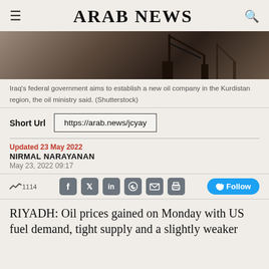ARAB NEWS
[Figure (photo): Silhouette of oil rig equipment against a hazy sky, dark tones of brown and black]
Iraq's federal government aims to establish a new oil company in the Kurdistan region, the oil ministry said. (Shutterstock)
Short Url   https://arab.news/jcyay
Updated 23 May 2022
NIRMAL NARAYANAN
May 23, 2022 09:17
1114   Follow
RIYADH: Oil prices gained on Monday with US fuel demand, tight supply and a slightly weaker